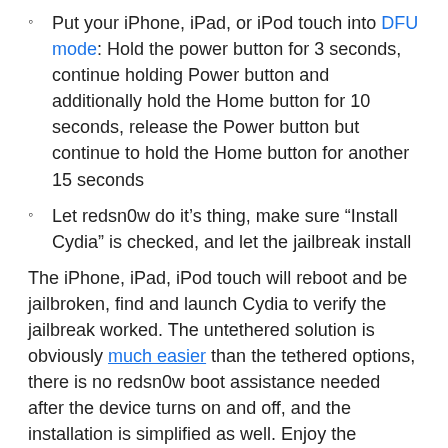Put your iPhone, iPad, or iPod touch into DFU mode: Hold the power button for 3 seconds, continue holding Power button and additionally hold the Home button for 10 seconds, release the Power button but continue to hold the Home button for another 15 seconds
Let redsn0w do it’s thing, make sure “Install Cydia” is checked, and let the jailbreak install
The iPhone, iPad, iPod touch will reboot and be jailbroken, find and launch Cydia to verify the jailbreak worked. The untethered solution is obviously much easier than the tethered options, there is no redsn0w boot assistance needed after the device turns on and off, and the installation is simplified as well. Enjoy the jailbreak.
Note for Windows users: be sure to run Redsn0w in Administrator mode, this can be done with a right-click.